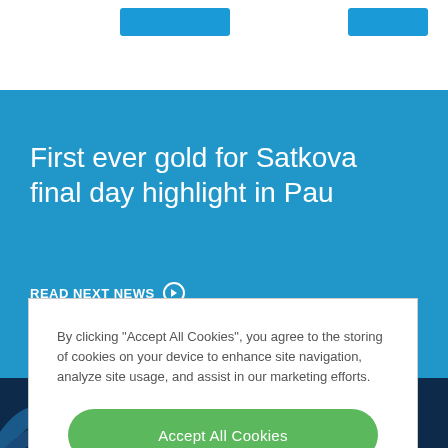[Figure (screenshot): Two blue navigation/button elements in white top bar area]
First ever gold for Satkova final day highlight in Pau
READ NEXT NEWS ❯
By clicking "Accept All Cookies", you agree to the storing of cookies on your device to enhance site navigation, analyze site usage, and assist in our marketing efforts.
Accept All Cookies